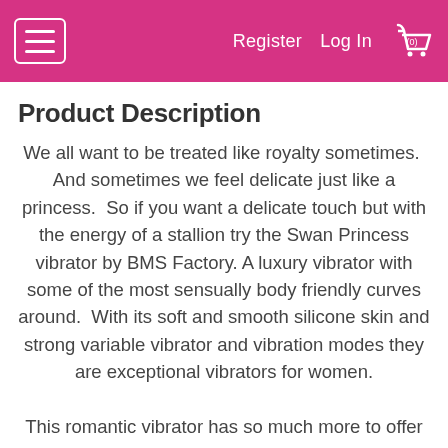Register   Log In   (0)
Product Description
We all want to be treated like royalty sometimes.  And sometimes we feel delicate just like a princess.  So if you want a delicate touch but with the energy of a stallion try the Swan Princess vibrator by BMS Factory. A luxury vibrator with some of the most sensually body friendly curves around.  With its soft and smooth silicone skin and strong variable vibrator and vibration modes they are exceptional vibrators for women.
This romantic vibrator has so much more to offer than simple beauty. With two extremely